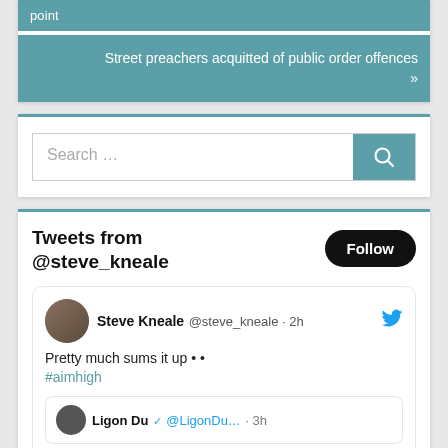point
Street preachers acquitted of public order offences »
Search ...
Tweets from @steve_kneale
Follow
Steve Kneale @steve_kneale · 2h
Pretty much sums it up •• #aimhigh
Ligon Du @LigonDu... · 3h